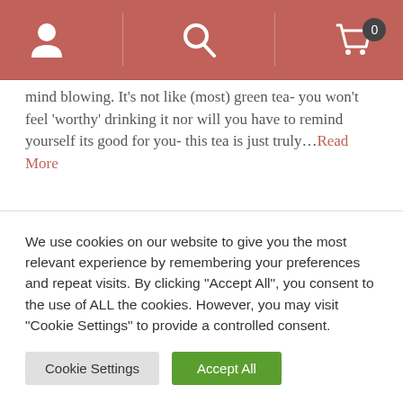[Figure (screenshot): Navigation bar with user icon, search icon, and shopping basket icon with badge showing 0]
mind blowing. It's not like (most) green tea- you won't feel 'worthy' drinking it nor will you have to remind yourself its good for you- this tea is just truly...Read More
Share |
30/12/17   👍 2  👎 0
RELATED PRODUCTS
We use cookies on our website to give you the most relevant experience by remembering your preferences and repeat visits. By clicking "Accept All", you consent to the use of ALL the cookies. However, you may visit "Cookie Settings" to provide a controlled consent.